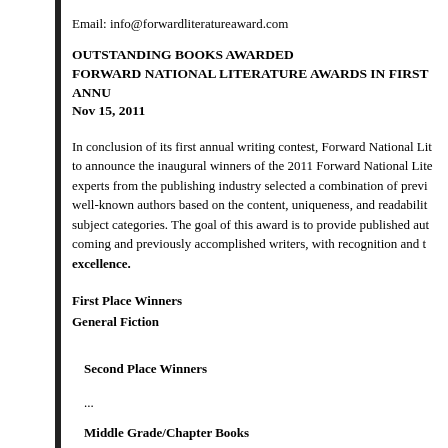Email: info@forwardliteratureaward.com
OUTSTANDING BOOKS AWARDED FORWARD NATIONAL LITERATURE AWARDS IN FIRST ANNU
Nov 15, 2011
In conclusion of its first annual writing contest, Forward National Lit to announce the inaugural winners of the 2011 Forward National Lite experts from the publishing industry selected a combination of previ well-known authors based on the content, uniqueness, and readabilit subject categories. The goal of this award is to provide published aut coming and previously accomplished writers, with recognition and t excellence.
First Place Winners
General Fiction
Second Place Winners
...
Middle Grade/Chapter Books